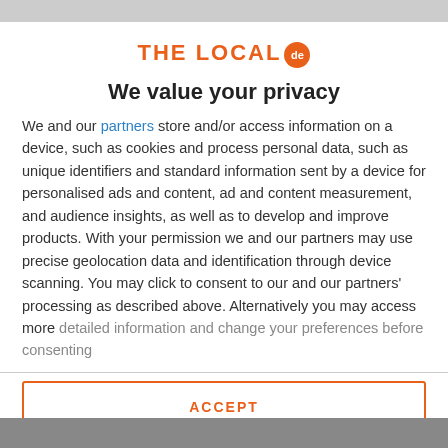[Figure (logo): The Local DE logo — orange text 'THE LOCAL' with an orange circle containing 'de']
We value your privacy
We and our partners store and/or access information on a device, such as cookies and process personal data, such as unique identifiers and standard information sent by a device for personalised ads and content, ad and content measurement, and audience insights, as well as to develop and improve products. With your permission we and our partners may use precise geolocation data and identification through device scanning. You may click to consent to our and our partners' processing as described above. Alternatively you may access more detailed information and change your preferences before consenting
ACCEPT
MORE OPTIONS